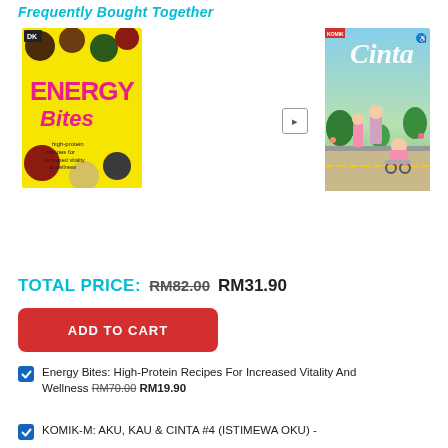Frequently Bought Together
[Figure (photo): Book cover: Energy Bites - high-protein recipes for increased vitality and wellness, yellow cover with colorful energy balls]
[Figure (photo): Book cover: Cinta manga-style comic, showing anime characters on a colorful illustrated cover]
TOTAL PRICE: RM82.00 RM31.90
ADD TO CART
Energy Bites: High-Protein Recipes For Increased Vitality And Wellness RM70.00 RM19.90
KOMIK-M: AKU, KAU & CINTA #4 (ISTIMEWA OKU) -